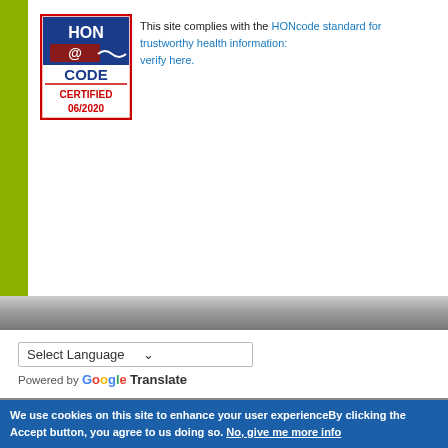[Figure (logo): HONcode certified badge with logo and text CERTIFIED 06/2020]
This site complies with the HONcode standard for trustworthy health information: verify here.
Select Language (dropdown) Powered by Google Translate
Follow Us (social media icons: Facebook, Twitter, LinkedIn, YouTube, Instagram)
[Figure (logo): European Journal of Hospital Pharmacy journal cover image with blue border and green text]
We use cookies on this site to enhance your user experienceBy clicking the Accept button, you agree to us doing so. No, give me more info